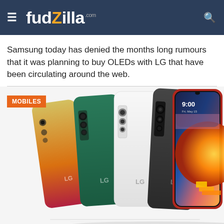fudzilla.com
Samsung today has denied the months long rumours that it was planning to buy OLEDs with LG that have been circulating around the web.
[Figure (photo): Five LG Velvet smartphones displayed in a row showing different color variants (gold/red, teal/green, white, dark grey/black) plus a front-facing view showing the screen with 9:00 time display and colorful circular wallpaper. A MOBILES category tag overlays the top-left of the image.]